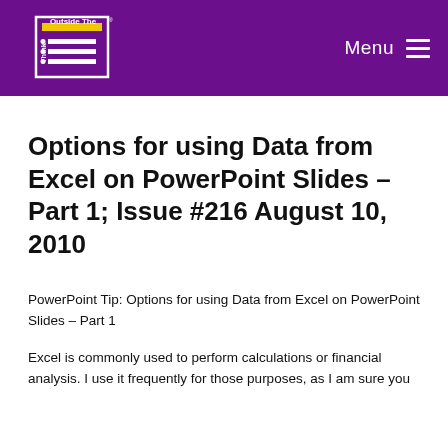Think Outside The Slide — Menu
Options for using Data from Excel on PowerPoint Slides – Part 1; Issue #216 August 10, 2010
PowerPoint Tip: Options for using Data from Excel on PowerPoint Slides – Part 1
Excel is commonly used to perform calculations or financial analysis. I use it frequently for those purposes, as I am sure you